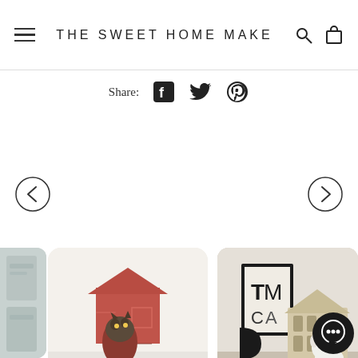THE SWEET HOME MAKE
Share:
[Figure (screenshot): Website screenshot of The Sweet Home Make shop page showing navigation header with hamburger menu, site title, search and cart icons, share buttons (Facebook, Twitter, Pinterest), navigation arrows, and a grid of product images featuring pet houses - a red cat house with a cat inside, a wooden dog house with a small white dog, and partial views of other products.]